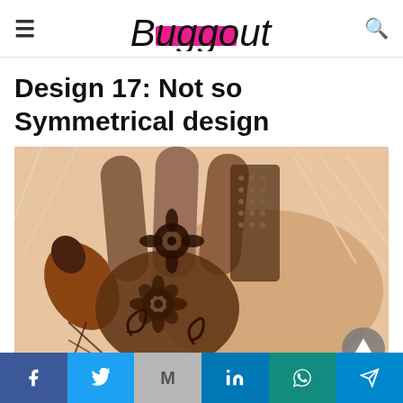Buggout (logo)
Design 17: Not so Symmetrical design
[Figure (photo): Close-up photo of a hand decorated with intricate mehndi (henna) floral and geometric designs, including spirals, flowers, and lattice patterns in dark brown.]
Social share bar: Facebook, Twitter, Gmail, LinkedIn, WhatsApp, Telegram